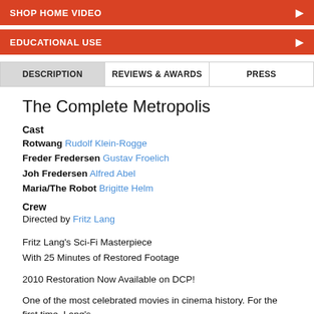SHOP HOME VIDEO
EDUCATIONAL USE
DESCRIPTION | REVIEWS & AWARDS | PRESS
The Complete Metropolis
Cast
Rotwang Rudolf Klein-Rogge
Freder Fredersen Gustav Froelich
Joh Fredersen Alfred Abel
Maria/The Robot Brigitte Helm
Crew
Directed by Fritz Lang
Fritz Lang's Sci-Fi Masterpiece
With 25 Minutes of Restored Footage
2010 Restoration Now Available on DCP!
One of the most celebrated movies in cinema history. For the first time, Lang's